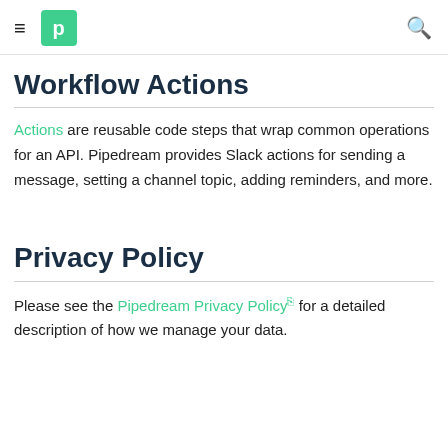Pipedream documentation header with hamburger menu and search icon
Workflow Actions
Actions are reusable code steps that wrap common operations for an API. Pipedream provides Slack actions for sending a message, setting a channel topic, adding reminders, and more.
Privacy Policy
Please see the Pipedream Privacy Policy for a detailed description of how we manage your data.